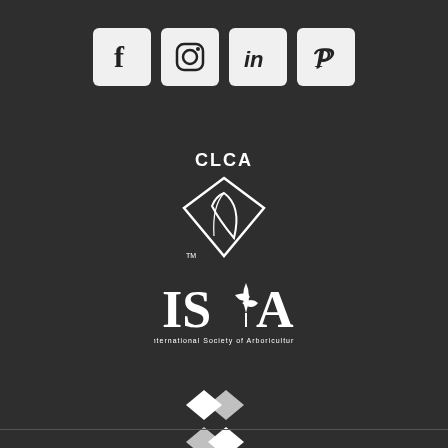[Figure (logo): Four social media icon buttons in rounded white squares: Facebook (f), Instagram (circle camera), LinkedIn (in), Pinterest (P)]
[Figure (logo): CLCA logo - California Landscape Contractors Association with white text CLCA above a diamond/leaf shape with TM mark]
[Figure (logo): ISA logo - International Society of Arboriculture with white text ISA and a tree/leaf icon, small text below reading International Society of Arboriculture]
[Figure (logo): Hatch logo - geometric diamond/cube shapes in white forming an abstract H-like mark]